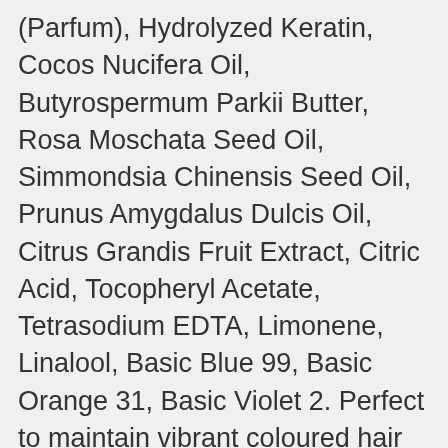(Parfum), Hydrolyzed Keratin, Cocos Nucifera Oil, Butyrospermum Parkii Butter, Rosa Moschata Seed Oil, Simmondsia Chinensis Seed Oil, Prunus Amygdalus Dulcis Oil, Citrus Grandis Fruit Extract, Citric Acid, Tocopheryl Acetate, Tetrasodium EDTA, Limonene, Linalool, Basic Blue 99, Basic Orange 31, Basic Violet 2. Perfect to maintain vibrant coloured hair and prevent fading, or mix it up between salon visits. Colour while you wash your hair! Subscribe for tips & tricks, sneak peeks and early access to our annual store wide sale! No parabens or sulphates. Directions On dry hair, apply product to selected area(s) with hands, working through hair until desired look is achieved. Also LOVE how it leaves the hair feeling. CDN$27.99 . The perfect way to add a pastel pink tint to your hair without